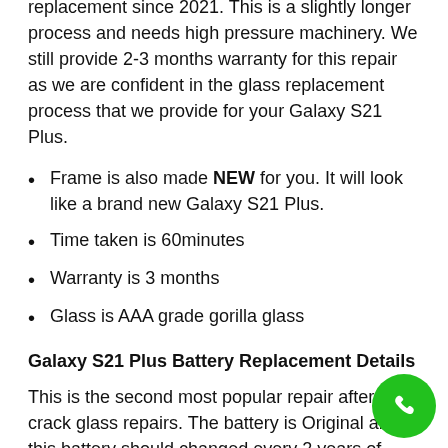replacement since 2021. This is a slightly longer process and needs high pressure machinery. We still provide 2-3 months warranty for this repair as we are confident in the glass replacement process that we provide for your Galaxy S21 Plus.
Frame is also made NEW for you. It will look like a brand new Galaxy S21 Plus.
Time taken is 60minutes
Warranty is 3 months
Glass is AAA grade gorilla glass
Galaxy S21 Plus Battery Replacement Details
This is the second most popular repair after crack glass repairs. The battery is Original and this battery should changed every 2 years of usage. Galaxy S21 Plus battery replacement is a low difficulty repair and we do about 15 sets